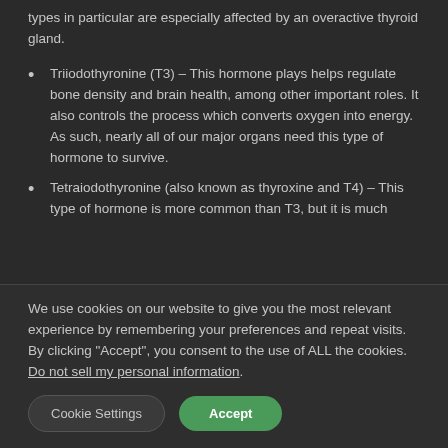types in particular are especially affected by an overactive thyroid gland.
Triiodothyronine (T3) – This hormone plays helps regulate bone density and brain health, among other important roles. It also controls the process which converts oxygen into energy. As such, nearly all of our major organs need this type of hormone to survive.
Tetraiodothyronine (also known as thyroxine and T4) – This type of hormone is more common than T3, but it is much
We use cookies on our website to give you the most relevant experience by remembering your preferences and repeat visits. By clicking "Accept", you consent to the use of ALL the cookies. Do not sell my personal information.
Cookie Settings   Accept